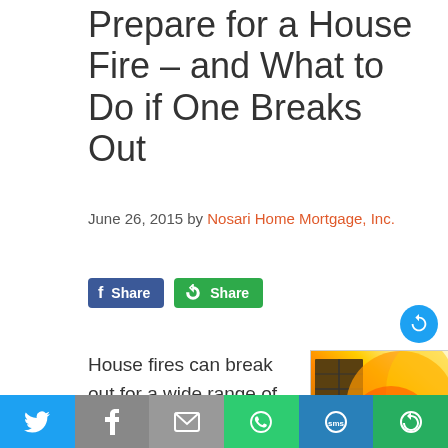Prepare for a House Fire – and What to Do if One Breaks Out
June 26, 2015 by Nosari Home Mortgage, Inc.
[Figure (screenshot): Social share buttons: Facebook Share (blue) and a green Share button with circular arrows icon]
House fires can break out for a wide range of reasons,
[Figure (photo): Photo of a kitchen engulfed in fire with orange and yellow flames visible]
[Figure (infographic): Bottom social sharing toolbar with Twitter (blue), Facebook (grey), Email (grey), WhatsApp (green), SMS (blue), and More/Share (green) icons on colored backgrounds]